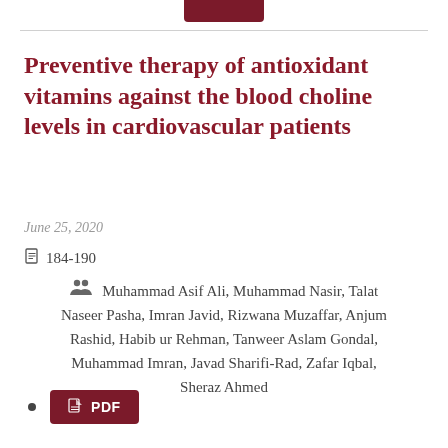Preventive therapy of antioxidant vitamins against the blood choline levels in cardiovascular patients
June 25, 2020
184-190
Muhammad Asif Ali, Muhammad Nasir, Talat Naseer Pasha, Imran Javid, Rizwana Muzaffar, Anjum Rashid, Habib ur Rehman, Tanweer Aslam Gondal, Muhammad Imran, Javad Sharifi-Rad, Zafar Iqbal, Sheraz Ahmed
PDF